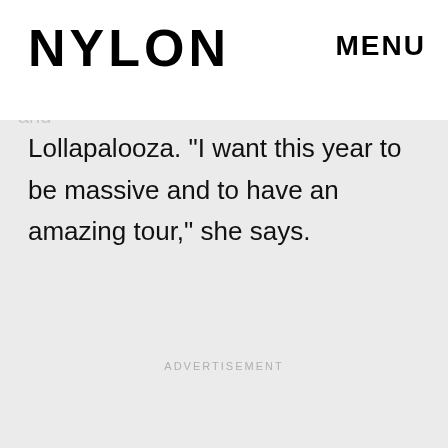NYLON  MENU
hits the festival circuit this summer, including high-profile stops at Coachella, Governors Ball, and Lollapalooza. “I want this year to be massive and to have an amazing tour,” she says.
ADVERTISEMENT